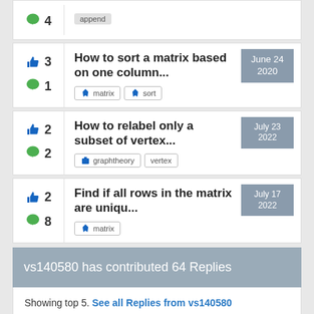How to sort a matrix based on one column... | matrix | sort | June 24 2020 | likes: 3, comments: 1
How to relabel only a subset of vertex... | graphtheory | vertex | July 23 2022 | likes: 2, comments: 2
Find if all rows in the matrix are uniqu... | matrix | July 17 2022 | likes: 2, comments: 8
vs140580 has contributed 64 Replies
Showing top 5. See all Replies from vs140580